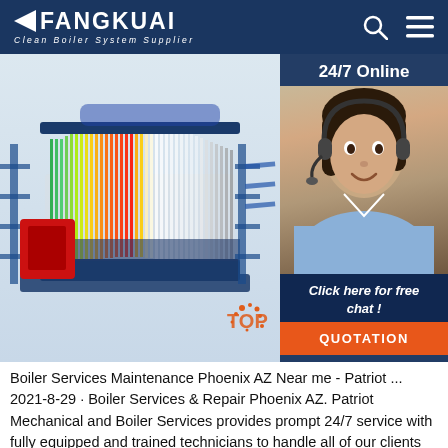FANGKUAI - Clean Boiler System Supplier
[Figure (illustration): Cutaway/cross-section illustration of a large industrial boiler unit showing internal tubes and heat exchanger components, rendered in 3D with vivid orange, red, green and blue colors. Right side overlay shows customer service agent with headset, 24/7 Online text, 'Click here for free chat!' text, and an orange QUOTATION button.]
Boiler Services Maintenance Phoenix AZ Near me - Patriot ... 2021-8-29 · Boiler Services & Repair Phoenix AZ. Patriot Mechanical and Boiler Services provides prompt 24/7 service with fully equipped and trained technicians to handle all of our clients needs: Boiler Shell, Drum & Refractory Repairs, including Tube Cleaning, Plugging and/or Replacement. Boiler Blowdown Piping and Vessels, including Heat Recovery ...